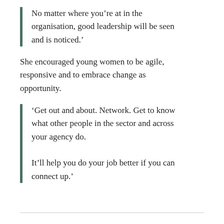No matter where you’re at in the organisation, good leadership will be seen and is noticed.’
She encouraged young women to be agile, responsive and to embrace change as opportunity.
‘Get out and about. Network. Get to know what other people in the sector and across your agency do.

It’ll help you do your job better if you can connect up.’